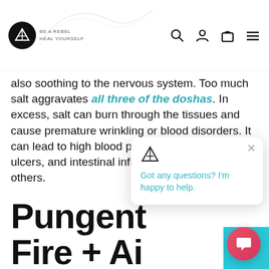BE A REBEL HEAL YOURSELF
also soothing to the nervous system. Too much salt aggravates all three of the doshas. In excess, salt can burn through the tissues and cause premature wrinkling or blood disorders. It can lead to high blood pressure, hyperacidity, ulcers, and intestinal inflammation, among others.
Pungent (Fire + Ai…
The pungent taste is like an obsessive cleaner in the house of the body. It rides through its channels, clearing out everything–sometimes even the good! It